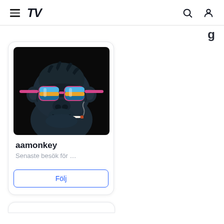TradingView navigation bar with hamburger menu, TV logo, search icon, user icon
[Figure (screenshot): A cartoon gorilla avatar with pink sunglasses and a cigarette on a black background, used as profile picture for user aamonkey]
aamonkey
Senaste besök för …
Följ